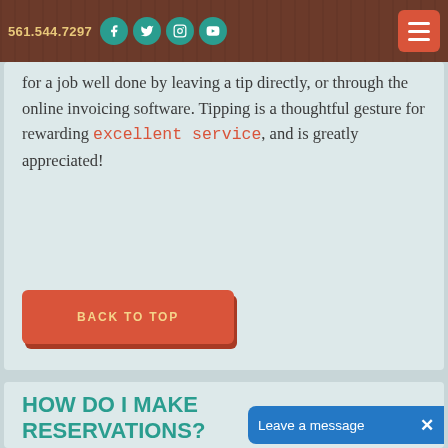561.544.7297
for a job well done by leaving a tip directly, or through the online invoicing software. Tipping is a thoughtful gesture for rewarding excellent service, and is greatly appreciated!
BACK TO TOP
HOW DO I MAKE RESERVATIONS?
You can reach out to us by calling or texting 561.544.7297, em... jill@jillsnextdoor.com, o...